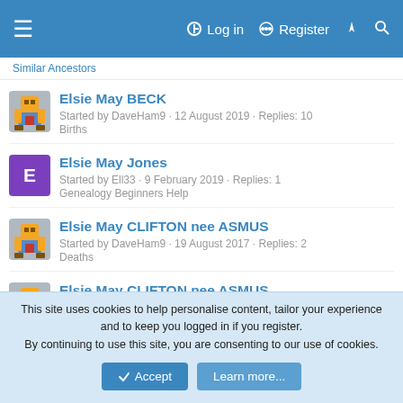Log in  Register
Elsie May BECK
Started by DaveHam9 · 12 August 2019 · Replies: 10
Births
Elsie May Jones
Started by Ell33 · 9 February 2019 · Replies: 1
Genealogy Beginners Help
Elsie May CLIFTON nee ASMUS
Started by DaveHam9 · 19 August 2017 · Replies: 2
Deaths
Elsie May CLIFTON nee ASMUS
Started by DaveHam9 · 11 September 2014 · Replies: 3
Deaths
Elsie May FURNER nee GUEST
This site uses cookies to help personalise content, tailor your experience and to keep you logged in if you register.
By continuing to use this site, you are consenting to our use of cookies.